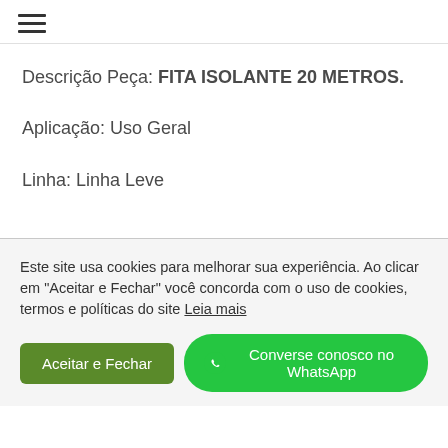☰
Descrição Peça: FITA ISOLANTE 20 METROS.
Aplicação: Uso Geral
Linha: Linha Leve
Este site usa cookies para melhorar sua experiência. Ao clicar em "Aceitar e Fechar" você concorda com o uso de cookies, termos e políticas do site Leia mais
Aceitar e Fechar
Converse conosco no WhatsApp